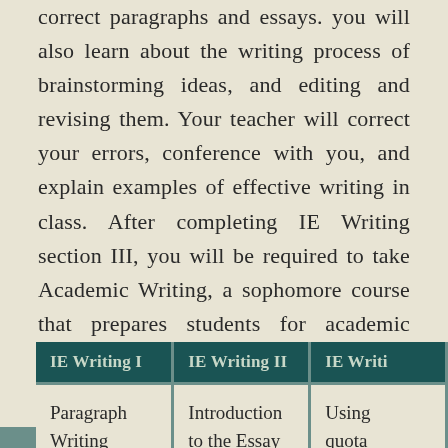correct paragraphs and essays. you will also learn about the writing process of brainstorming ideas, and editing and revising them. Your teacher will correct your errors, conference with you, and explain examples of effective writing in class. After completing IE Writing section III, you will be required to take Academic Writing, a sophomore course that prepares students for academic research through work on a 1,500 word essay.
| IE Writing I | IE Writing II | IE Writi... |
| --- | --- | --- |
| Paragraph Writing | Introduction to the Essay | Using quota... and parap... in ess... |